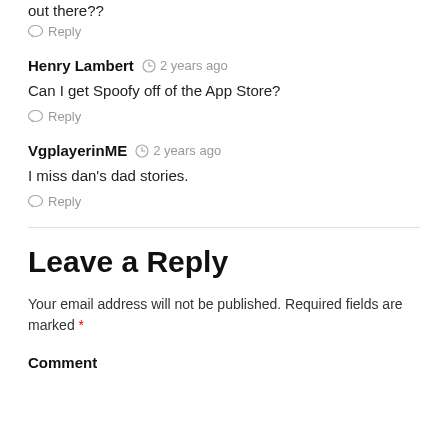out there??
Reply
Henry Lambert  2 years ago
Can I get Spoofy off of the App Store?
Reply
VgplayerinME  2 years ago
I miss dan's dad stories.
Reply
Leave a Reply
Your email address will not be published. Required fields are marked *
Comment